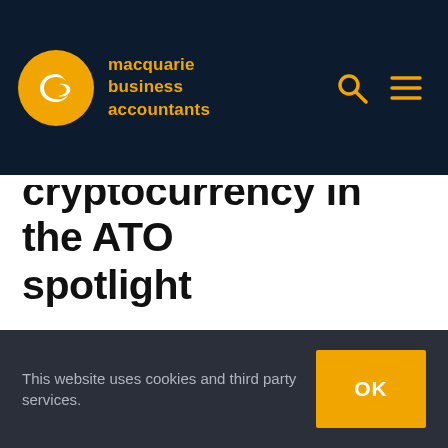macquarie business accountants
Cryptocurrency in the ATO spotlight
The ATO has specified that gains from cryptocurrency are an area of focus again this year. For SMSFs however, managing cryptocurrency is not simply an issue of recognising transactions correctly, it is
This website uses cookies and third party services.